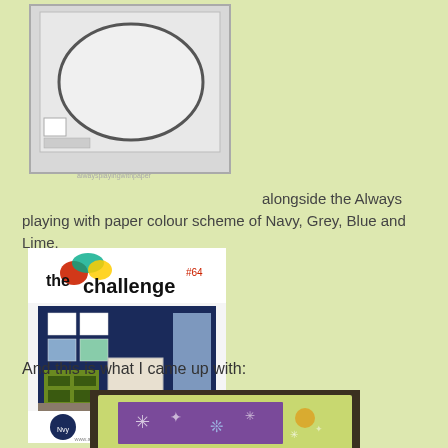[Figure (schematic): Card layout sketch showing a rectangle with an oval/ellipse in the center, small squares in the bottom left corner, on a grey background with a thin border. Watermark text at bottom.]
alongside the Always playing with paper colour scheme of Navy, Grey, Blue and Lime.
[Figure (photo): The challenge #64 logo/badge with colourful paint splatters and a photo of a navy blue nursery room with green dresser, showing color swatches at the bottom for navy, lime, blue and grey.]
And this is what I came up with:
[Figure (photo): Photo of a handmade card with lime green/yellow-green background, purple panel, decorated with white snowflake stamps and embellishments.]